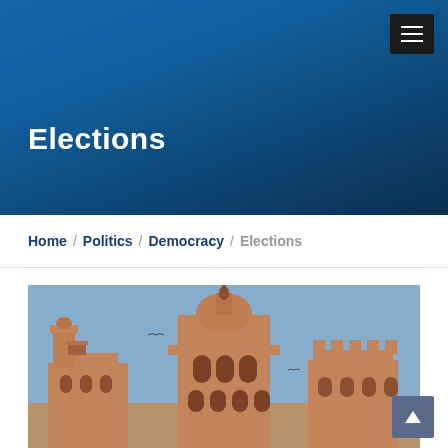[Figure (screenshot): Blue gradient hero banner header with dark menu toggle button in top-right corner]
Elections
Home / Politics / Democracy / Elections
[Figure (photo): Photo of an ornate Mughal-style red sandstone building with domed towers and arched balconies against a blue sky — likely a historical Indian monument or government building]